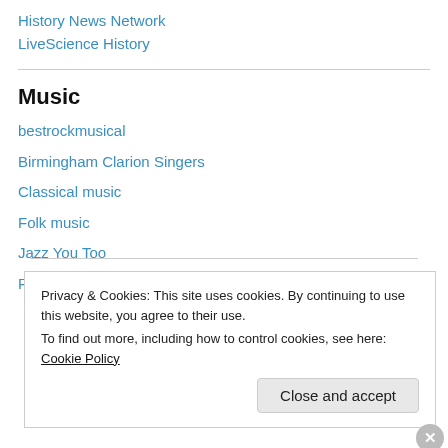History News Network
LiveScience History
Music
bestrockmusical
Birmingham Clarion Singers
Classical music
Folk music
Jazz You Too
Punk music
Privacy & Cookies: This site uses cookies. By continuing to use this website, you agree to their use.
To find out more, including how to control cookies, see here: Cookie Policy